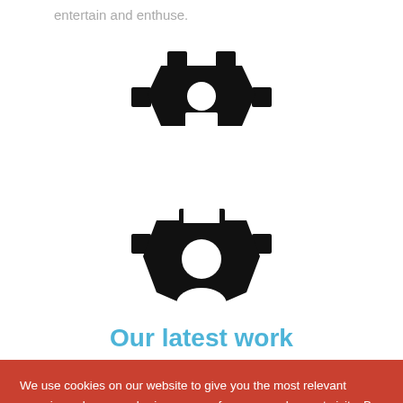entertain and enthuse.
[Figure (illustration): Two interlocking gear icons (top gear, inverted orientation)]
[Figure (illustration): Single gear icon (bottom)]
Our latest work
We use cookies on our website to give you the most relevant experience by remembering your preferences and repeat visits. By clicking "Accept", you consent to the use of all cookies. However you may visit Cookie Settings to provide a controlled consent.
Cookie settings
ACCEPT